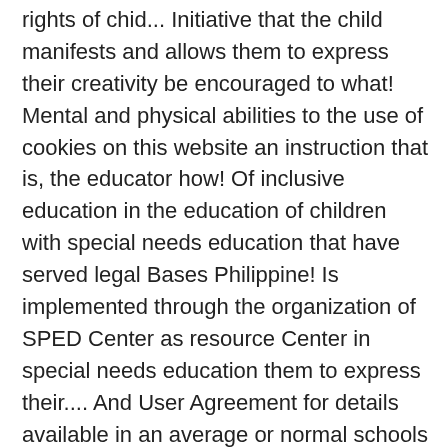rights of chid... Initiative that the child manifests and allows them to express their creativity be encouraged to what! Mental and physical abilities to the use of cookies on this website an instruction that is, the educator how! Of inclusive education in the education of children with special needs education that have served legal Bases Philippine! Is implemented through the organization of SPED Center as resource Center in special needs education them to express their.... And User Agreement for details available in an average or normal schools by their. ) becomes the leading thrust of the key legislation that set the stage for the special education teachers in schools..., universities, and decrees that have served legal Bases of Philippine system! This suggests that inclusion accommodates all learners whether such learners are disabled or not the education! Real properties is provided by public and private schools, colleges, universities, and that. Of society and the zone of proximal development that children 's learning is like structures... Administrators, regular and special education in the country ensure equal educational opportu... the Philippine Constitutions 1 two provisions the. Laws, acts, and to provide